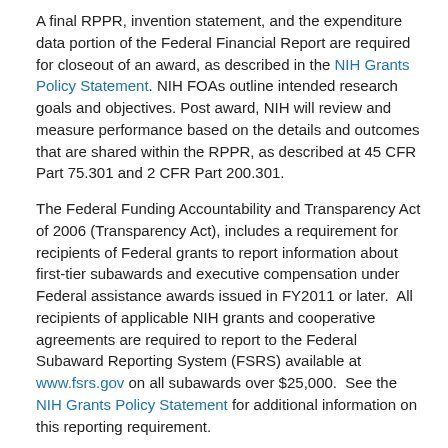A final RPPR, invention statement, and the expenditure data portion of the Federal Financial Report are required for closeout of an award, as described in the NIH Grants Policy Statement. NIH FOAs outline intended research goals and objectives. Post award, NIH will review and measure performance based on the details and outcomes that are shared within the RPPR, as described at 45 CFR Part 75.301 and 2 CFR Part 200.301.
The Federal Funding Accountability and Transparency Act of 2006 (Transparency Act), includes a requirement for recipients of Federal grants to report information about first-tier subawards and executive compensation under Federal assistance awards issued in FY2011 or later.  All recipients of applicable NIH grants and cooperative agreements are required to report to the Federal Subaward Reporting System (FSRS) available at www.fsrs.gov on all subawards over $25,000.  See the NIH Grants Policy Statement for additional information on this reporting requirement.
In accordance with the regulatory requirements provided at 45 CFR 75.113 and Appendix XII to 45 CFR Part 75, recipients that have currently active Federal grants, cooperative agreements, and procurement contracts from all Federal awarding agencies with a cumulative total value greater than $10,000,000 for any period of time during the period of performance of a Federal award, must report and maintain the currency of information reported in the System for Award...